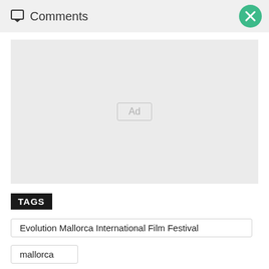Comments
[Figure (other): Advertisement placeholder box with 'Ad' label in center]
TAGS
Evolution Mallorca International Film Festival
mallorca